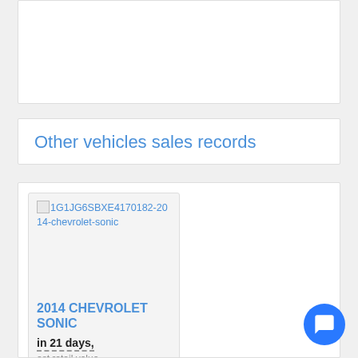Other vehicles sales records
1G1JG6SBXE4170182-2014-chevrolet-sonic
527943-1970-marn-boat
2014 CHEVROLET SONIC
in 21 days,
est retail value
$10,596
VIN 1G1JG6SBXE4170182
1970 MARN BOAT
in 11 days,
VIN 527943